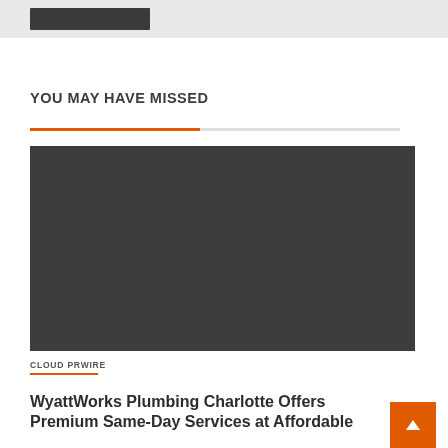[Figure (screenshot): Dark gray placeholder image block for an article thumbnail]
CLOUD PRWIRE
WyattWorks Plumbing Charlotte Offers Premium Same-Day Services at Affordable
YOU MAY HAVE MISSED